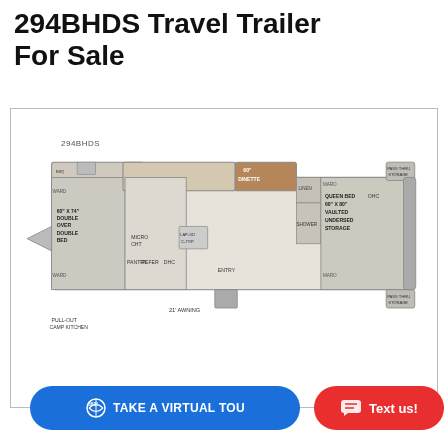294BHDS Travel Trailer For Sale
[Figure (schematic): Floor plan diagram of the 294BHDS travel trailer showing room layout including: WARD, 60x74 Double Over Double Bunk beds, Pull-Out Camp Kitchen, BBQ, OPT THEATER SEAT - B-B-B SOFA, 60 Dinette, LINEN, MARO, Queen Bed 60x80 Vaulted Underseat Storage, OHC, MARO, PASS THRU STORAGE (top and bottom right), PANTRY, REFER, DHC, MICRO, LAP-SD C-TOP, ENTRY, SHOWER, 21' AWNING label. Model number 294BHDS shown.]
360° TAKE A VIRTUAL TOU
Text us!